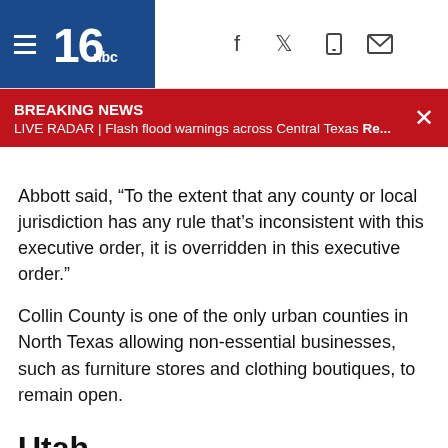KXAN NBC 6 - Breaking News: LIVE RADAR | Flash flood warnings across Central Texas Re...
Abbott said, “To the extent that any county or local jurisdiction has any rule that’s inconsistent with this executive order, it is overridden in this executive order.”
Collin County is one of the only urban counties in North Texas allowing non-essential businesses, such as furniture stores and clothing boutiques, to remain open.
Utah
Governor Gary R. Herbert issued a “Stay Safe, Stay Home” directive to all Utahns.
Utahns are expected to stay home whenever possible. The